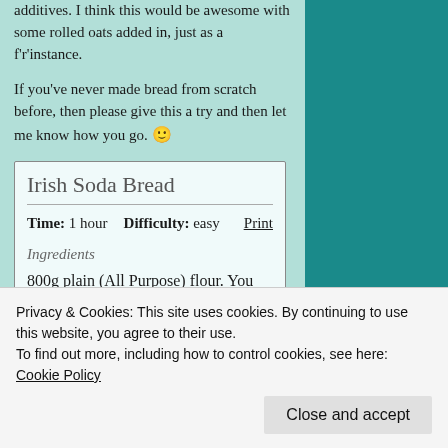additives. I think this would be awesome with some rolled oats added in, just as a f'r'instance.
If you've never made bread from scratch before, then please give this a try and then let me know how you go. 🙂
Irish Soda Bread
Time: 1 hour   Difficulty: easy   Print
Ingredients
800g plain (All Purpose) flour. You may use a combination of different flours if you wish.
Privacy & Cookies: This site uses cookies. By continuing to use this website, you agree to their use.
To find out more, including how to control cookies, see here: Cookie Policy
Close and accept